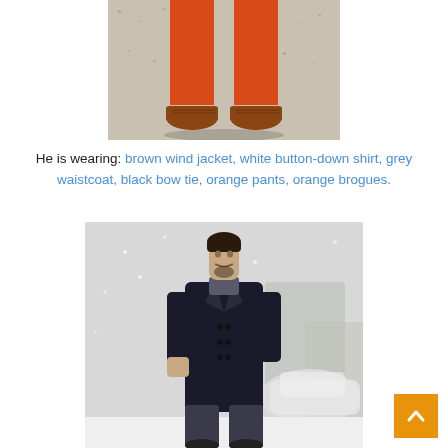[Figure (photo): Lower body of a man wearing orange/red pants and brown brogues, standing on gravel]
He is wearing: brown wind jacket, white button-down shirt, grey waistcoat, black bow tie, orange pants, orange brogues.
[Figure (photo): Man wearing a dark navy/black double-breasted coat and dark trousers, standing on a snowy street with a blurred car in background]
[Figure (other): Orange scroll-to-top button with upward chevron arrow]